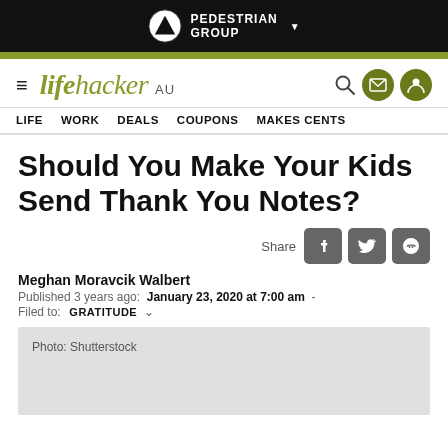[Figure (logo): Pedestrian Group logo with text in black top bar]
[Figure (logo): Lifehacker AU logo with hamburger menu and nav icons]
LIFE   WORK   DEALS   COUPONS   MAKES CENTS
Should You Make Your Kids Send Thank You Notes?
Share
Meghan Moravcik Walbert
Published 3 years ago:  January 23, 2020 at 7:00 am  -
Filed to:  GRATITUDE
[Figure (photo): Photo placeholder with caption: Photo: Shutterstock]